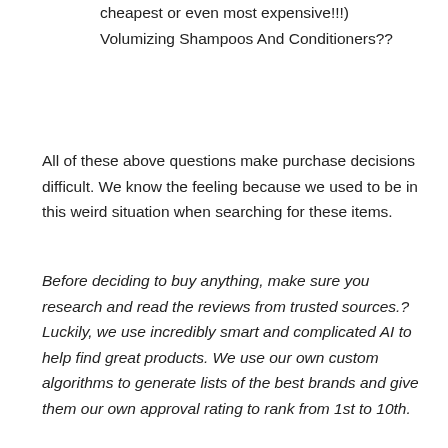cheapest or even most expensive!!!) Volumizing Shampoos And Conditioners??
All of these above questions make purchase decisions difficult. We know the feeling because we used to be in this weird situation when searching for these items.
Before deciding to buy anything, make sure you research and read the reviews from trusted sources. Luckily, we use incredibly smart and complicated AI to help find great products. We use our own custom algorithms to generate lists of the best brands and give them our own approval rating to rank from 1st to 10th.
You can see the Volumizing Shampoos And Conditioners of above. This list is updated regularly, so you can be sure that the information provided is up-to-date.
You may? read more about us ?to learn how we support this site. Don’t hesitate to Contact us if you see this review is incorrect or needs to be updated.